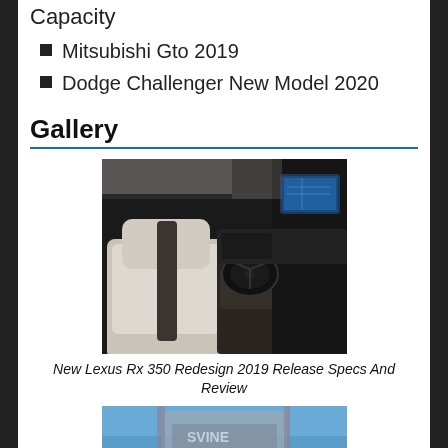Capacity
Mitsubishi Gto 2019
Dodge Challenger New Model 2020
Gallery
[Figure (photo): Interior photo of a Lexus RX 350 showing white leather seats, steering wheel, dashboard, and infotainment screen]
New Lexus Rx 350 Redesign 2019 Release Specs And Review
[Figure (photo): Partial photo of a building with blue sky background and signage visible at bottom of page]